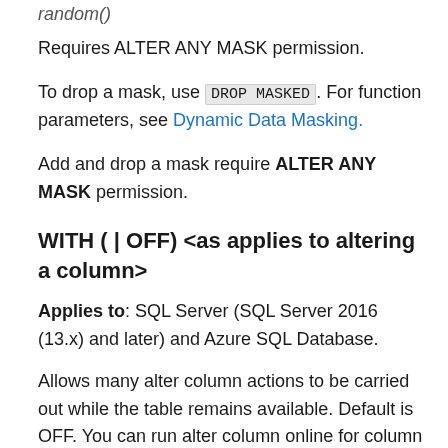random()
Requires ALTER ANY MASK permission.
To drop a mask, use DROP MASKED. For function parameters, see Dynamic Data Masking.
Add and drop a mask require ALTER ANY MASK permission.
WITH ( ONLINE = ON | OFF) <as applies to altering a column>
Applies to: SQL Server (SQL Server 2016 (13.x) and later) and Azure SQL Database.
Allows many alter column actions to be carried out while the table remains available. Default is OFF. You can run alter column online for column changes related to data type, column length or precision, nullability, sparseness, and